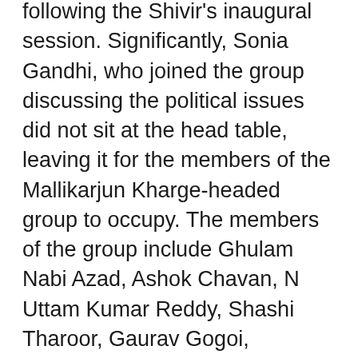following the Shivir's inaugural session. Significantly, Sonia Gandhi, who joined the group discussing the political issues did not sit at the head table, leaving it for the members of the Mallikarjun Kharge-headed group to occupy. The members of the group include Ghulam Nabi Azad, Ashok Chavan, N Uttam Kumar Reddy, Shashi Tharoor, Gaurav Gogoi, Saptagiri Sankar Ulaka, Pawan Khera and Ragini Nayak. Priyanka Gandhi Vadra too joined its deliberations. Rahul Gandhi joined the group discussing the economic issues. Shivir's 430 delegates have been divided into six groups to brainstorm on six issues – political, economic, organisational, social justice, youth and empowerment and farmers and agriculture.